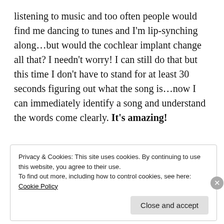listening to music and too often people would find me dancing to tunes and I'm lip-synching along…but would the cochlear implant change all that? I needn't worry! I can still do that but this time I don't have to stand for at least 30 seconds figuring out what the song is…now I can immediately identify a song and understand the words come clearly. It's amazing!
[Figure (infographic): Advertisement banner for a journaling app with blue background, showing icons of a book, person, and notepad, with text 'The only journaling app you'll ever need.']
REPORT THIS AD
Privacy & Cookies: This site uses cookies. By continuing to use this website, you agree to their use.
To find out more, including how to control cookies, see here: Cookie Policy
Close and accept